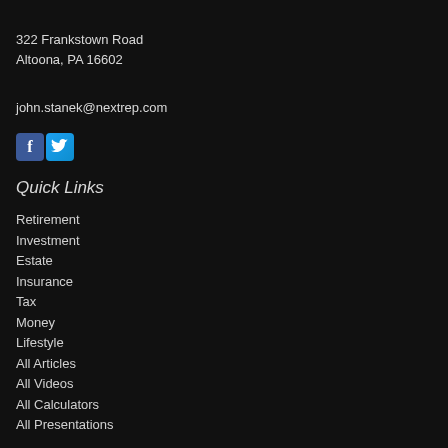322 Frankstown Road
Altoona, PA 16602
john.stanek@nextrep.com
[Figure (other): Facebook and Twitter social media icons side by side]
Quick Links
Retirement
Investment
Estate
Insurance
Tax
Money
Lifestyle
All Articles
All Videos
All Calculators
All Presentations